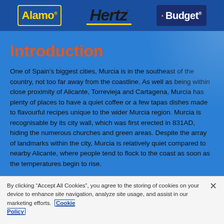[Figure (logo): Alamo, Hertz, and Budget car rental logos in a blue header bar]
Introduction
One of Spain's biggest cities, Murcia is in the southeast of the country, not too far away from the coastline. As well as being within close proximity of Alicante, Torrevieja and Cartagena, Murcia has plenty of places to have a quiet coffee or a few tapas dishes made to flavourful recipes unique to the wider Murcia region. Murcia is recognisable by its city wall, which was first erected in 831AD, hiding the numerous churches and green areas. Despite the array of landmarks within the city, Murcia is relatively quiet compared to nearby Alicante, where people tend to flock to the coast as soon as the temperatures begin to rise.
By clicking “Accept All Cookies”, you agree to the storing of cookies on your device to enhance site navigation, analyze site usage, and assist in our marketing efforts. Cookie Policy